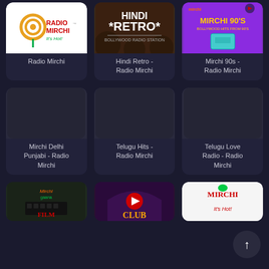[Figure (screenshot): Radio Mirchi app grid of radio station cards. Row 1: Radio Mirchi (white logo card), Hindi Retro - Radio Mirchi (dark brown card with Hindi Retro text), Mirchi 90s - Radio Mirchi (purple card with cassette). Row 2: Mirchi Delhi Punjabi - Radio Mirchi (dark card), Telugu Hits - Radio Mirchi (dark card), Telugu Love Radio - Radio Mirchi (dark card). Row 3 partial: Mirchi Gaana (dark), Club (purple), Mirchi (white/red). Floating action button bottom-right with up arrow.]